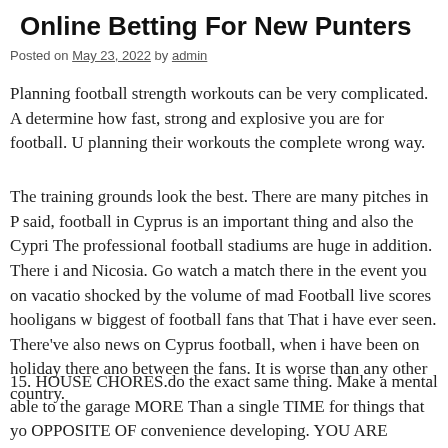Online Betting For New Punters
Posted on May 23, 2022 by admin
Planning football strength workouts can be very complicated. A determine how fast, strong and explosive you are for football. U planning their workouts the complete wrong way.
The training grounds look the best. There are many pitches in P said, football in Cyprus is an important thing and also the Cypri The professional football stadiums are huge in addition. There i and Nicosia. Go watch a match there in the event you on vacatio shocked by the volume of mad Football live scores hooligans w biggest of football fans that That i have ever seen. There've also news on Cyprus football, when i have been on holiday there ano between the fans. It is worse than any other country.
15. HOUSE CHORES.do the exact same thing. Make a mental able to the garage MORE Than a single TIME for things that yo OPPOSITE OF convenience developing. YOU ARE PLANNIN with everything at your fingertips. Your summer you can also...